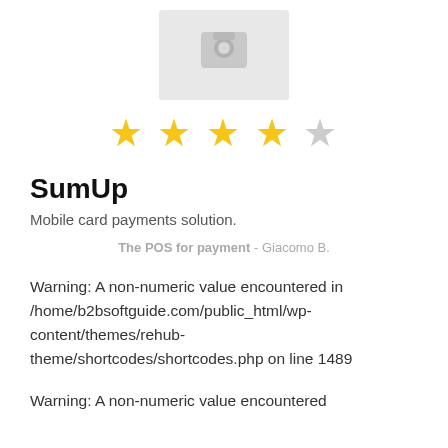[Figure (other): Placeholder image with a camera icon on a light gray background]
[Figure (other): Star rating: 3.5 out of 5 stars (4 filled/half, 1 empty)]
SumUp
Mobile card payments solution.
The POS for payment - Giacomo B.
Warning: A non-numeric value encountered in /home/b2bsoftguide.com/public_html/wp-content/themes/rehub-theme/shortcodes/shortcodes.php on line 1489
Warning: A non-numeric value encountered